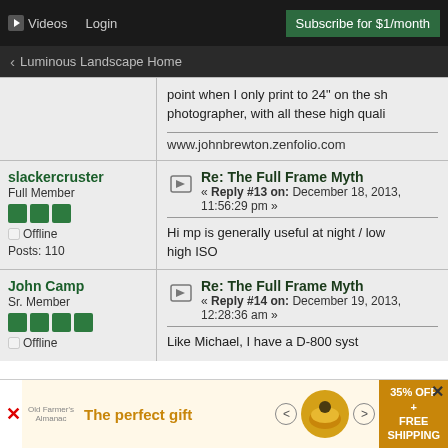▶ Videos  Login  Subscribe for $1/month
< Luminous Landscape Home
point when I only print to 24" on the sh photographer, with all these high quali
www.johnbrewton.zenfolio.com
slackercruster
Full Member
Offline
Posts: 110
Re: The Full Frame Myth
« Reply #13 on: December 18, 2013, 11:56:29 pm »
Hi mp is generally useful at night / low high ISO
John Camp
Sr. Member
Offline
Re: The Full Frame Myth
« Reply #14 on: December 19, 2013, 12:28:36 am »
Like Michael, I have a D-800 syst
[Figure (screenshot): Advertisement banner: The perfect gift with 35% off + free shipping]